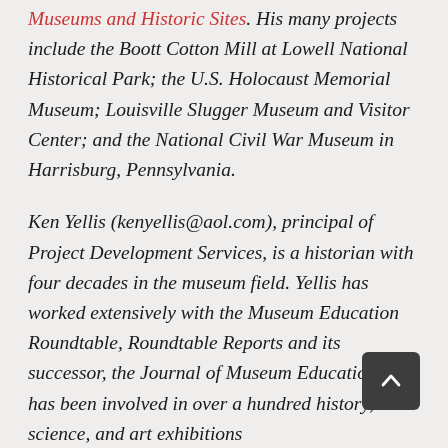Museums and Historic Sites. His many projects include the Boott Cotton Mill at Lowell National Historical Park; the U.S. Holocaust Memorial Museum; Louisville Slugger Museum and Visitor Center; and the National Civil War Museum in Harrisburg, Pennsylvania.

Ken Yellis (kenyellis@aol.com), principal of Project Development Services, is a historian with four decades in the museum field. Yellis has worked extensively with the Museum Education Roundtable, Roundtable Reports and its successor, the Journal of Museum Education. He has been involved in over a hundred history, science, and art exhibitions